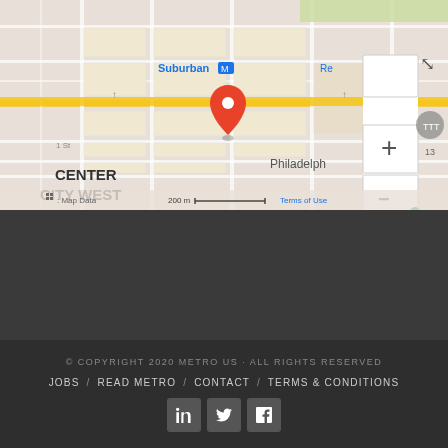[Figure (map): Google Maps screenshot showing Philadelphia Center City West / French Quarter area with a red location pin marker, zoom controls (+/-), expand button, scale bar showing 200m, and Map Data / Terms of Use labels. Suburban station marker and street grid visible.]
© COPYRIGHT 2020 METRO US · ALL RIGHTS RESERVED
JOBS / READ METRO / CONTACT / TERMS & CONDITIONS
[Figure (other): Social media icons: LinkedIn, Twitter, Facebook]